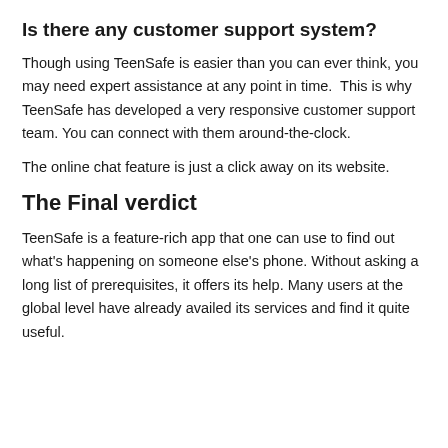Is there any customer support system?
Though using TeenSafe is easier than you can ever think, you may need expert assistance at any point in time.  This is why TeenSafe has developed a very responsive customer support team. You can connect with them around-the-clock.
The online chat feature is just a click away on its website.
The Final verdict
TeenSafe is a feature-rich app that one can use to find out what's happening on someone else's phone. Without asking a long list of prerequisites, it offers its help. Many users at the global level have already availed its services and find it quite useful.